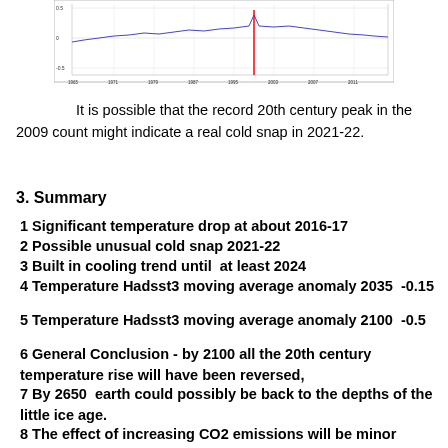[Figure (continuous-plot): Partial line chart showing temperature data over years from approximately 1965 to 2013, with a red spike visible near 2007 and gridlines. Y-axis appears to show temperature anomaly values. X-axis shows years.]
It is possible that the record 20th century peak in the 2009 count might indicate a real cold snap in 2021-22.
3. Summary
1 Significant temperature drop at about 2016-17
2 Possible unusual cold snap 2021-22
3 Built in cooling trend until  at least 2024
4 Temperature Hadsst3 moving average anomaly 2035  -0.15
5 Temperature Hadsst3 moving average anomaly 2100  -0.5
6 General Conclusion - by 2100 all the 20th century temperature rise will have been reversed,
7 By 2650  earth could possibly be back to the depths of the little ice age.
8 The effect of increasing CO2 emissions will be minor